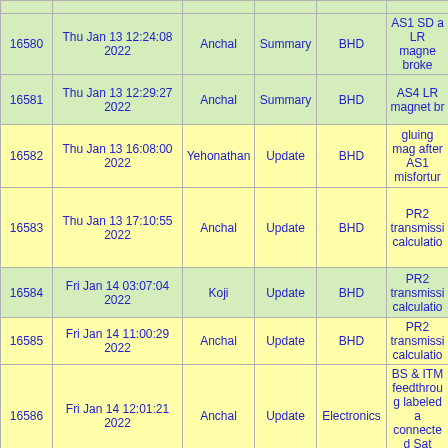| ID | Timestamp | Author | Type | Category | Subject |
| --- | --- | --- | --- | --- | --- |
| 16580 | Thu Jan 13 12:24:08 2022 | Anchal | Summary | BHD | AS1 SD a LR magne broke |
| 16581 | Thu Jan 13 12:29:27 2022 | Anchal | Summary | BHD | AS4 LR magnet br |
| 16582 | Thu Jan 13 16:08:00 2022 | Yehonathan | Update | BHD | gluing mag after AS1 misfortur |
| 16583 | Thu Jan 13 17:10:55 2022 | Anchal | Update | BHD | PR2 transmissi calculatio |
| 16584 | Fri Jan 14 03:07:04 2022 | Koji | Update | BHD | PR2 transmissi calculatio |
| 16585 | Fri Jan 14 11:00:29 2022 | Anchal | Update | BHD | PR2 transmissi calculatio |
| 16586 | Fri Jan 14 12:01:21 2022 | Anchal | Update | Electronics | BS & ITM feedthroug labeled a connected Sat Amp |
| 16587 | Fri Jan 14 13:46:25 2022 | Anchal | Update | BHD | PR2 transmissi |